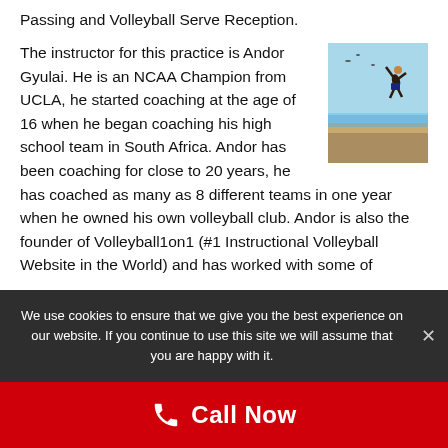Passing and Volleyball Serve Reception.
The instructor for this practice is Andor Gyulai. He is an NCAA Champion from UCLA, he started coaching at the age of 16 when he began coaching his high school team in South Africa. Andor has been coaching for close to 20 years, he has coached as many as 8 different teams in one year when he owned his own volleyball club. Andor is also the founder of Volleyball1on1 (#1 Instructional Volleyball Website in the World) and has worked with some of
[Figure (photo): Person jumping on a beach, volleyball action shot]
We use cookies to ensure that we give you the best experience on our website. If you continue to use this site we will assume that you are happy with it.
Call Now